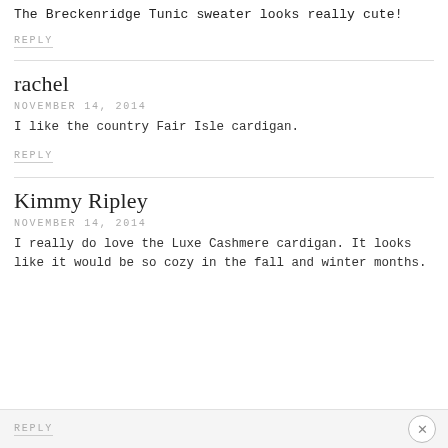The Breckenridge Tunic sweater looks really cute!
REPLY
rachel
NOVEMBER 14, 2014
I like the country Fair Isle cardigan.
REPLY
Kimmy Ripley
NOVEMBER 14, 2014
I really do love the Luxe Cashmere cardigan. It looks like it would be so cozy in the fall and winter months.
REPLY